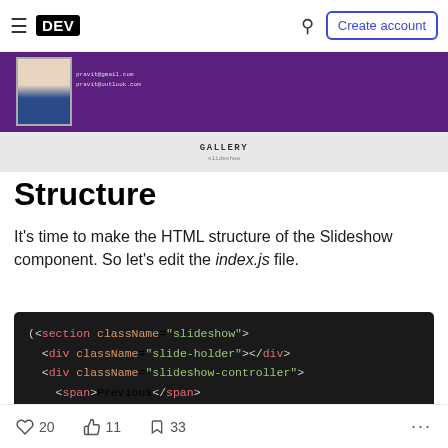DEV | Create account
[Figure (screenshot): A purple resume/gallery card showing a person photo and contact details, with a grey section below showing 'GALLERY' label and small text]
Structure
It's time to make the HTML structure of the Slideshow component. So let's edit the index.js file.
[Figure (screenshot): Code block on dark background showing JSX code: (<section className="slideshow"><div className="slide-holder"></div><div className="slideshow-controller"><span>Previous</span>]
20 likes  11  33 bookmarks